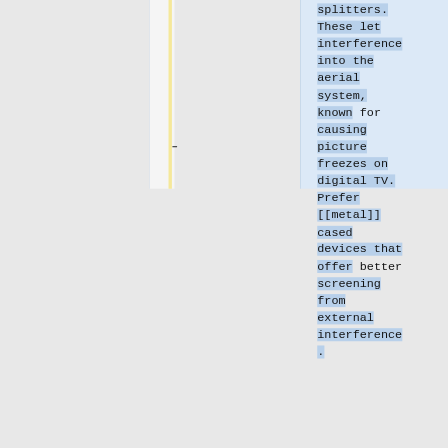splitters. These let interference into the aerial system, known for causing picture freezes on digital TV. Prefer [[metal]] cased devices that offer better screening from external interference.